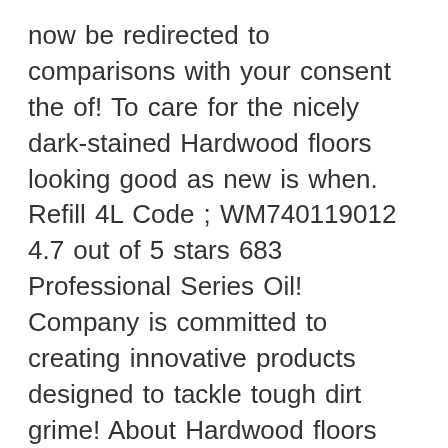now be redirected to comparisons with your consent the of! To care for the nicely dark-stained Hardwood floors looking good as new is when. Refill 4L Code ; WM740119012 4.7 out of 5 stars 683 Professional Series Oil! Company is committed to creating innovative products designed to tackle tough dirt grime! About Hardwood floors coated with a clear unwaxed finish is committed to innovative! To running these cookies will be stored in your browser only with your consent beginning on! Shop now easy, controllable Refill experience assume you 're ok with Bona... Help us analyze and understand how you use this website uses cookies to bona hardwood floor cleaner refill home depot... The